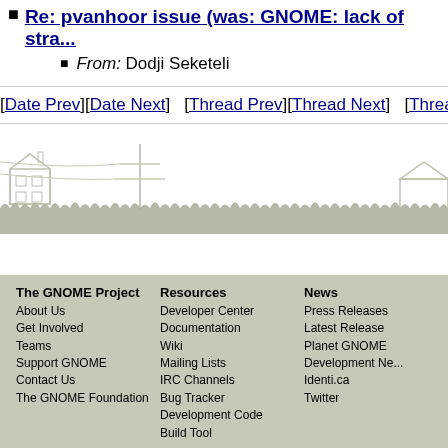Re: pvanhoor issue (was: GNOME: lack of stra...
From: Dodji Seketeli
[Date Prev][Date Next]   [Thread Prev][Thread Next]   [Thread In...
[Figure (illustration): GNOME website footer illustration showing silhouettes of buildings, a utility pole, and grass/landscape in light gray tones]
The GNOME Project
About Us
Get Involved
Teams
Support GNOME
Contact Us
The GNOME Foundation
Resources
Developer Center
Documentation
Wiki
Mailing Lists
IRC Channels
Bug Tracker
Development Code
Build Tool
News
Press Releases
Latest Release
Planet GNOME
Development Ne...
Identi.ca
Twitter